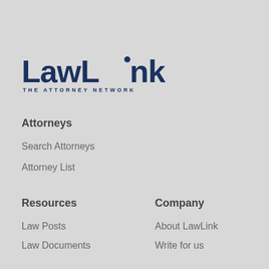[Figure (logo): LawLink - The Attorney Network logo in dark navy blue]
Attorneys
Search Attorneys
Attorney List
Resources
Company
Law Posts
About LawLink
Law Documents
Write for us
Law Center
Questions & Answers
Contact
Privacy